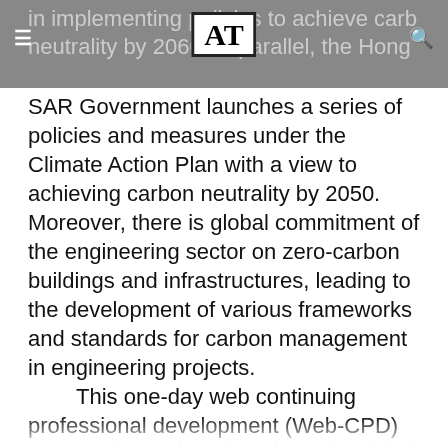AT — navigation header with hamburger menu and search icon
in implementing policies to achieve carbon neutrality by 2060. In parallel, the Hong Kong SAR Government launches a series of policies and measures under the Climate Action Plan with a view to achieving carbon neutrality by 2050. Moreover, there is global commitment of the engineering sector on zero-carbon buildings and infrastructures, leading to the development of various frameworks and standards for carbon management in engineering projects.
This one-day web continuing professional development (Web-CPD) course aims to introduce how the global trend of carbon neutrality be realized through engineering projects. You will get a comprehensive picture on the definitions…